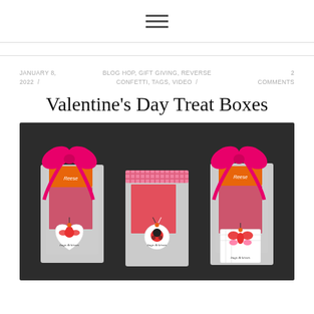≡ (hamburger menu icon)
JANUARY 8, 2022 / BLOG HOP, GIFT GIVING, REVERSE CONFETTI, TAGS, VIDEO / 2 COMMENTS
Valentine's Day Treat Boxes
[Figure (photo): Three Valentine's Day treat bags on a dark background, each containing Reese's candy tied with bright pink bows and decorated with white tags featuring cute bug illustrations and the text 'bugs & kisses']